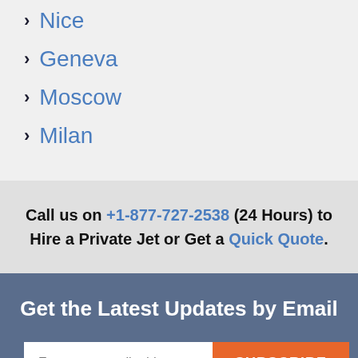Nice
Geneva
Moscow
Milan
Call us on +1-877-727-2538 (24 Hours) to Hire a Private Jet or Get a Quick Quote.
Get the Latest Updates by Email